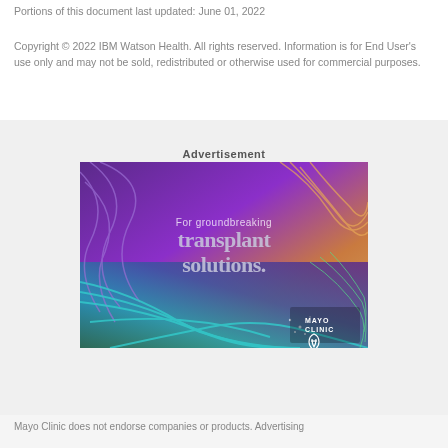Portions of this document last updated: June 01, 2022
Copyright © 2022 IBM Watson Health. All rights reserved. Information is for End User's use only and may not be sold, redistributed or otherwise used for commercial purposes.
Advertisement
[Figure (illustration): Mayo Clinic advertisement with colorful feather-like swirling abstract background in purple, blue, teal, orange and green. Text overlay reads 'For groundbreaking transplant solutions.' with Mayo Clinic logo in bottom right corner.]
Mayo Clinic does not endorse companies or products. Advertising